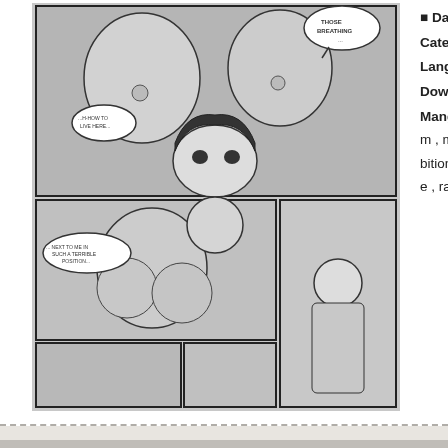[Figure (illustration): Manga/hentai comic page thumbnail showing black and white illustrated panels]
Date: 2019-09-04
Category: Hentai
Language: Englis...
Download ■■■■■: D...
Manga Tags: man... m, muscle, ahega... bitionism, glasses... e, rape, sole fema...
[Figure (photo): Advertisement banner: black background with gold crown, INSTANT PLAY GIVEAWAY text, pile of money, WIN $30... INSTANT CASH text]
Powered by Hentai4Manga.Com ? 2010-2012 Contact US 0 DB Queries | Memory Usage: 0.37 M | Proccessed in 5.2111148834229ms | Free Hentai Manga